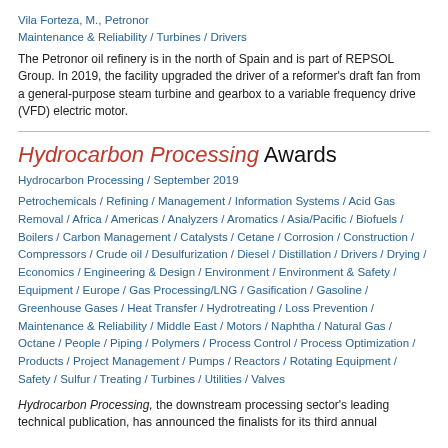Vila Forteza, M., Petronor
Maintenance & Reliability / Turbines / Drivers
The Petronor oil refinery is in the north of Spain and is part of REPSOL Group. In 2019, the facility upgraded the driver of a reformer's draft fan from a general-purpose steam turbine and gearbox to a variable frequency drive (VFD) electric motor.
Hydrocarbon Processing Awards
Hydrocarbon Processing / September 2019
Petrochemicals / Refining / Management / Information Systems / Acid Gas Removal / Africa / Americas / Analyzers / Aromatics / Asia/Pacific / Biofuels / Boilers / Carbon Management / Catalysts / Cetane / Corrosion / Construction / Compressors / Crude oil / Desulfurization / Diesel / Distillation / Drivers / Drying / Economics / Engineering & Design / Environment / Environment & Safety / Equipment / Europe / Gas Processing/LNG / Gasification / Gasoline / Greenhouse Gases / Heat Transfer / Hydrotreating / Loss Prevention / Maintenance & Reliability / Middle East / Motors / Naphtha / Natural Gas / Octane / People / Piping / Polymers / Process Control / Process Optimization / Products / Project Management / Pumps / Reactors / Rotating Equipment / Safety / Sulfur / Treating / Turbines / Utilities / Valves
Hydrocarbon Processing, the downstream processing sector's leading technical publication, has announced the finalists for its third annual